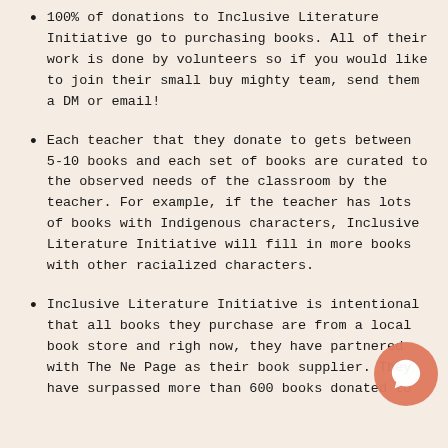100% of donations to Inclusive Literature Initiative go to purchasing books. All of their work is done by volunteers so if you would like to join their small buy mighty team, send them a DM or email!
Each teacher that they donate to gets between 5-10 books and each set of books are curated to the observed needs of the classroom by the teacher. For example, if the teacher has lots of books with Indigenous characters, Inclusive Literature Initiative will fill in more books with other racialized characters.
Inclusive Literature Initiative is intentional that all books they purchase are from a local book store and right now, they have partnered with The Next Page as their book supplier. They have surpassed more than 600 books donated to